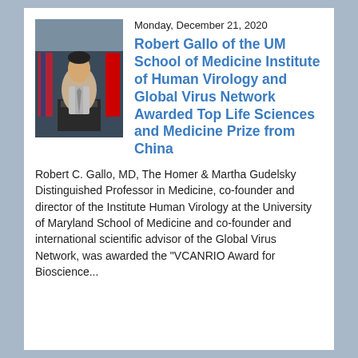[Figure (photo): Portrait photo of Robert Gallo standing at a podium with flags in the background]
Monday, December 21, 2020
Robert Gallo of the UM School of Medicine Institute of Human Virology and Global Virus Network Awarded Top Life Sciences and Medicine Prize from China
Robert C. Gallo, MD, The Homer & Martha Gudelsky Distinguished Professor in Medicine, co-founder and director of the Institute Human Virology at the University of Maryland School of Medicine and co-founder and international scientific advisor of the Global Virus Network, was awarded the "VCANRIO Award for Bioscience..."